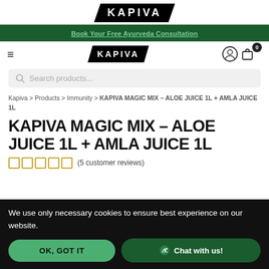KAPIVA
Book Your Free Ayurveda Consultation
KAPIVA — navigation bar with hamburger menu, logo, user icon, and cart (0)
Search products...
Kapiva > Products > Immunity > KAPIVA MAGIC MIX – ALOE JUICE 1L + AMLA JUICE 1L
KAPIVA MAGIC MIX – ALOE JUICE 1L + AMLA JUICE 1L
(5 customer reviews)
We use only necessary cookies to ensure best experience on our website.
OK, GOT IT
Chat with us!